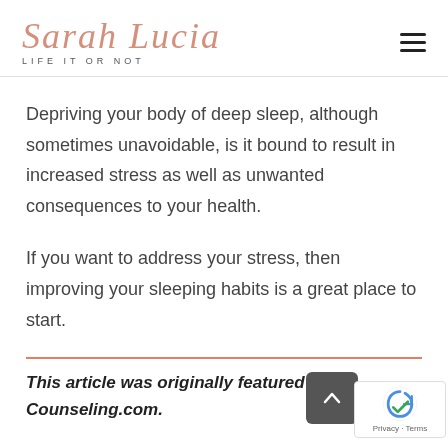Sarah Lucia — LIFE IT OR NOT
Depriving your body of deep sleep, although sometimes unavoidable, is it bound to result in increased stress as well as unwanted consequences to your health.
If you want to address your stress, then improving your sleeping habits is a great place to start.
This article was originally featured on E-Counseling.com.